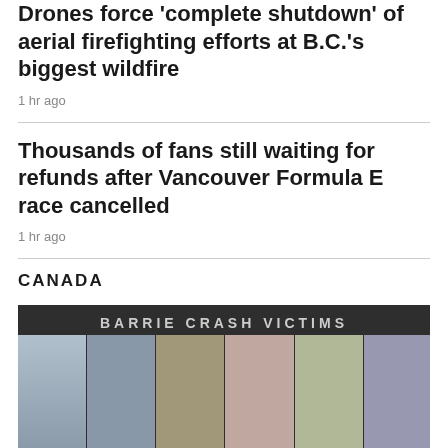Drones force 'complete shutdown' of aerial firefighting efforts at B.C.'s biggest wildfire
1 hr ago
Thousands of fans still waiting for refunds after Vancouver Formula E race cancelled
1 hr ago
CANADA
[Figure (photo): Photo collage labeled 'BARRIE CRASH VICTIMS' showing six young people's portrait photos arranged in a row against a dark background.]